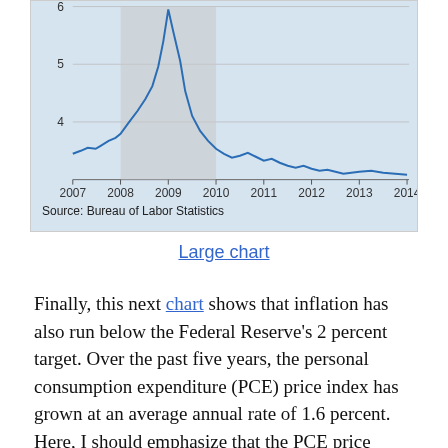[Figure (continuous-plot): Line chart showing data from 2007 to 2014. Y-axis ranges from 4 to 6. The line rises from about 4.4 in 2007 to a peak above 6 around early 2009, with a gray shaded recession band roughly spanning 2008–2009, then declines and levels off around 4–4.5 from 2010 onward.]
Source: Bureau of Labor Statistics
Large chart
Finally, this next chart shows that inflation has also run below the Federal Reserve's 2 percent target. Over the past five years, the personal consumption expenditure (PCE) price index has grown at an average annual rate of 1.6 percent. Here, I should emphasize that the PCE price index is an index that includes all goods and services, including food and energy. So, I'm not talking about so-called core inflation—I'm talking about what's called